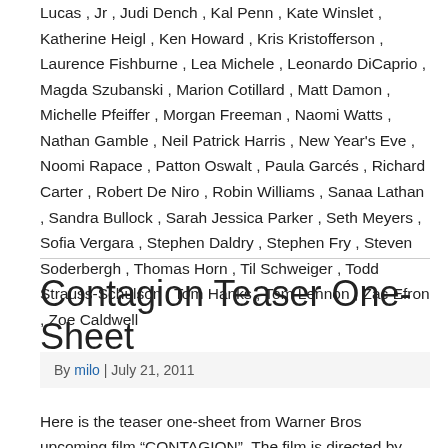Lucas , Jr , Judi Dench , Kal Penn , Kate Winslet , Katherine Heigl , Ken Howard , Kris Kristofferson , Laurence Fishburne , Lea Michele , Leonardo DiCaprio , Magda Szubanski , Marion Cotillard , Matt Damon , Michelle Pfeiffer , Morgan Freeman , Naomi Watts , Nathan Gamble , Neil Patrick Harris , New Year's Eve , Noomi Rapace , Patton Oswalt , Paula Garcés , Richard Carter , Robert De Niro , Robin Williams , Sanaa Lathan , Sandra Bullock , Sarah Jessica Parker , Seth Meyers , Sofia Vergara , Stephen Daldry , Stephen Fry , Steven Soderbergh , Thomas Horn , Til Schweiger , Todd Strauss-Schulson , Tom Hanks , Tom Lennon , Zac Efron , Zoe Caldwell
Contagion Teaser One-Sheet
By milo | July 21, 2011
Here is the teaser one-sheet from Warner Bros upcoming film "CONTAGION". The film is directed by Steven Soderbergh